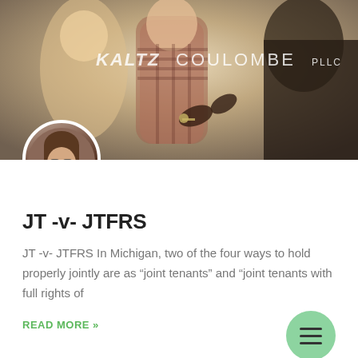[Figure (photo): Hero image showing people exchanging keys, with KALTZ COULOMBE PLLC logo overlay and circular author avatar photo at bottom left]
JT -v- JTFRS
JT -v- JTFRS In Michigan, two of the four ways to hold properly jointly are as “joint tenants” and “joint tenants with full rights of
READ MORE »
Samantha McLeod • December 6, 2021